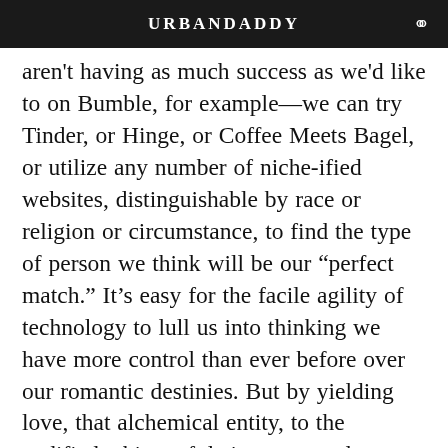URBANDADDY
aren't having as much success as we'd like to on Bumble, for example—we can try Tinder, or Hinge, or Coffee Meets Bagel, or utilize any number of niche-ified websites, distinguishable by race or religion or circumstance, to find the type of person we think will be our “perfect match.” It’s easy for the facile agility of technology to lull us into thinking we have more control than ever before over our romantic destinies. But by yielding love, that alchemical entity, to the codified whims of dating apps and algorithms and a narrowed set of preferences, do we actually have more agency, or do we have less? And is the codification of love—the promise of a “perfect match”—actually